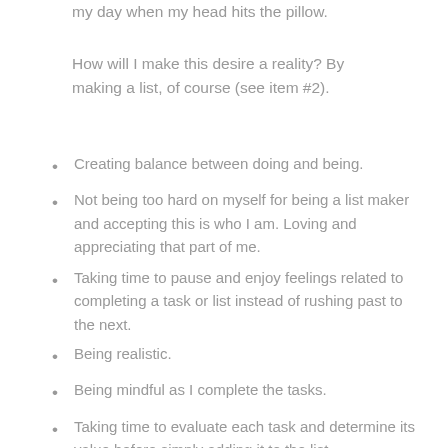my day when my head hits the pillow.
How will I make this desire a reality? By making a list, of course (see item #2).
Creating balance between doing and being.
Not being too hard on myself for being a list maker and accepting this is who I am. Loving and appreciating that part of me.
Taking time to pause and enjoy feelings related to completing a task or list instead of rushing past to the next.
Being realistic.
Being mindful as I complete the tasks.
Taking time to evaluate each task and determine its value before simply adding it to the list.